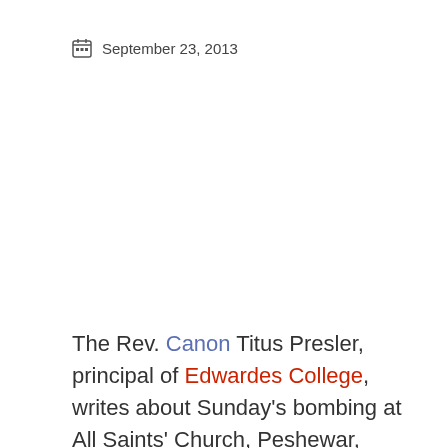September 23, 2013
The Rev. Canon Titus Presler, principal of Edwardes College, writes about Sunday's bombing at All Saints' Church, Peshewar, Pakistan: